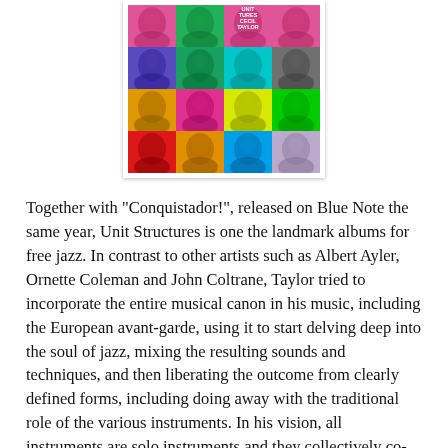[Figure (illustration): Album cover art for 'Unit Structures' by Cecil Taylor — a pop-art style grid of 4x4 colorful repeated portrait photos of Cecil Taylor in various bright colors (pink, green, teal, purple, orange, yellow, red, blue), with album title text visible at top.]
Together with "Conquistador!", released on Blue Note the same year, Unit Structures is one the landmark albums for free jazz. In contrast to other artists such as Albert Ayler, Ornette Coleman and John Coltrane, Taylor tried to incorporate the entire musical canon in his music, including the European avant-garde, using it to start delving deep into the soul of jazz, mixing the resulting sounds and techniques, and then liberating the outcome from clearly defined forms, including doing away with the traditional role of the various instruments. In his vision, all instruments are solo instruments and they collectively co-create a sound, improvising together as a "unit" around open-ended musical